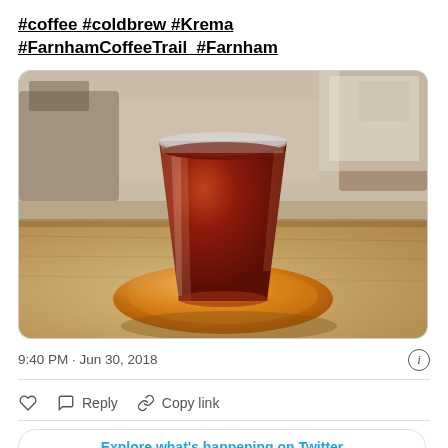#coffee #coldbrew #Krema #FarnhamCoffeeTrail  #Farnham
[Figure (photo): A glass of cold brew coffee on a yellow/orange saucer placed on a wooden table, inside a cafe. The coffee is dark reddish-brown. Blurred background shows cafe furniture.]
9:40 PM · Jun 30, 2018
Reply  Copy link
Explore what's happening on Twitter